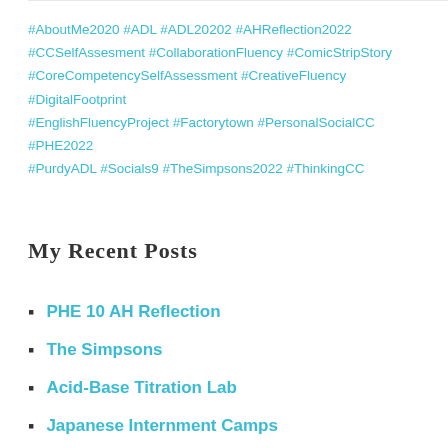#AboutMe2020 #ADL #ADL20202 #AHReflection2022 #CCSelfAssesment #CollaborationFluency #ComicStripStory #CoreCompetencySelfAssessment #CreativeFluency #DigitalFootprint #EnglishFluencyProject #Factorytown #PersonalSocialCC #PHE2022 #PurdyADL #Socials9 #TheSimpsons2022 #ThinkingCC
My Recent Posts
PHE 10 AH Reflection
The Simpsons
Acid-Base Titration Lab
Japanese Internment Camps
My Model Town
Tweets by Centennial43
Edublogs Default by Edublogs